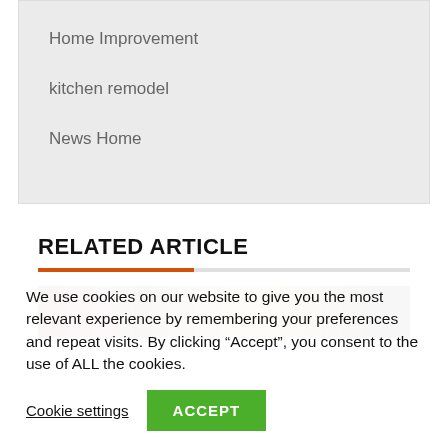Home Improvement
kitchen remodel
News Home
RELATED ARTICLE
[Figure (photo): A photo of wine bottles viewed from the front, dark and blurred.]
We use cookies on our website to give you the most relevant experience by remembering your preferences and repeat visits. By clicking “Accept”, you consent to the use of ALL the cookies.
Cookie settings
ACCEPT